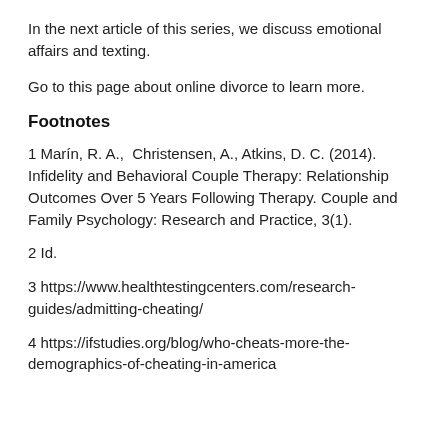In the next article of this series, we discuss emotional affairs and texting.
Go to this page about online divorce to learn more.
Footnotes
1 Marín, R. A.,  Christensen, A., Atkins, D. C. (2014). Infidelity and Behavioral Couple Therapy: Relationship Outcomes Over 5 Years Following Therapy. Couple and Family Psychology: Research and Practice, 3(1).
2 Id.
3 https://www.healthtestingcenters.com/research-guides/admitting-cheating/
4 https://ifstudies.org/blog/who-cheats-more-the-demographics-of-cheating-in-america